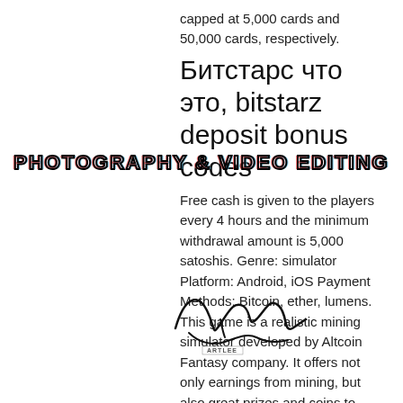capped at 5,000 cards and 50,000 cards, respectively.
Битстарс что это, bitstarz deposit bonus codes
Free cash is given to the players every 4 hours and the minimum withdrawal amount is 5,000 satoshis. Genre: simulator Platform: Android, iOS Payment Methods: Bitcoin, ether, lumens. This game is a realistic mining simulator developed by Altcoin Fantasy company. It offers not only earnings from mining, but also great prizes and coins to players. The game is free and played by over 130,000 players, битстарс фри. Hence Provable Fairness is utilized to decide the validity of an online casino and choose whether it is totally unbiased, битстарс фри. The app offers real trading data and you can trade 18 different coins there in the simulation mode, bitstarz bitcoin withdrawal.
[Figure (other): Watermark overlay reading PHOTOGRAPHY & VIDEO EDITING with chromatic aberration effect in pink/cyan]
[Figure (other): Handwritten signature overlaid on the text body]